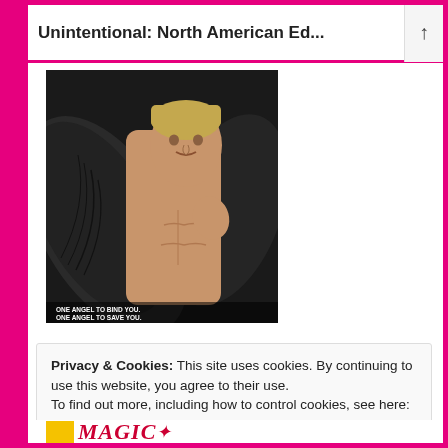Unintentional: North American Ed...
[Figure (illustration): Book cover showing a shirtless young man with dark angel wings behind him on a dark background. Text at bottom reads: ONE ANGEL TO BIND YOU. ONE ANGEL TO SAVE YOU.]
Privacy & Cookies: This site uses cookies. By continuing to use this website, you agree to their use.
To find out more, including how to control cookies, see here: Cookie Policy
Close and accept